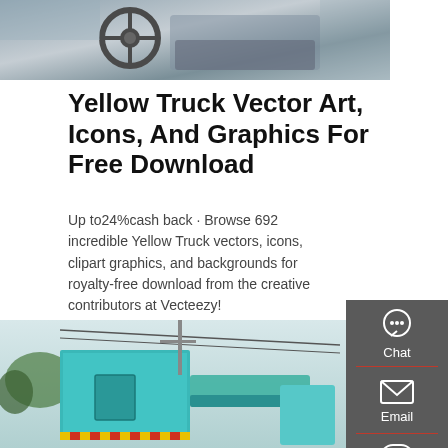[Figure (photo): Interior photo of a truck cab showing steering wheel and seat, partial crop at top of page]
Yellow Truck Vector Art, Icons, And Graphics For Free Download
Up to24%cash back · Browse 692 incredible Yellow Truck vectors, icons, clipart graphics, and backgrounds for royalty-free download from the creative contributors at Vecteezy!
GET A QUOTE
[Figure (photo): Photo of a teal/turquoise dump truck or garbage truck from behind/side angle, with power lines and trees in background]
[Figure (infographic): Sidebar panel with Chat, Email, and Contact icons and labels on dark gray background]